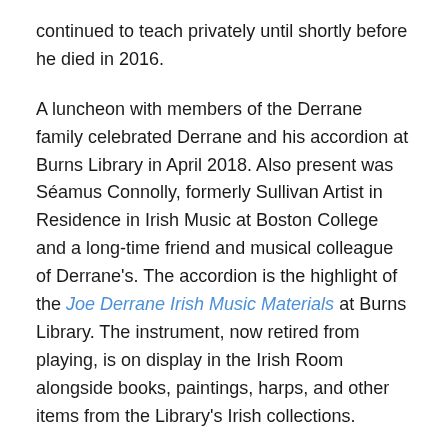continued to teach privately until shortly before he died in 2016.
A luncheon with members of the Derrane family celebrated Derrane and his accordion at Burns Library in April 2018. Also present was Séamus Connolly, formerly Sullivan Artist in Residence in Irish Music at Boston College and a long-time friend and musical colleague of Derrane's. The accordion is the highlight of the Joe Derrane Irish Music Materials at Burns Library. The instrument, now retired from playing, is on display in the Irish Room alongside books, paintings, harps, and other items from the Library's Irish collections.
Burns Library looks forward to welcoming visitors to view the accordion. For more information about the Irish Music Archives and Irish Studies collections at Boston College,